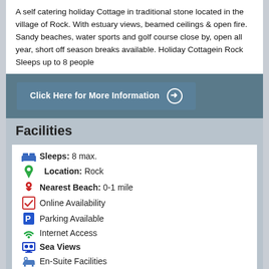A self catering holiday Cottage in traditional stone located in the village of Rock. With estuary views, beamed ceilings & open fire. Sandy beaches, water sports and golf course close by, open all year, short off season breaks available. Holiday Cottagein Rock Sleeps up to 8 people
Click Here for More Information ➔
Facilities
Sleeps: 8 max.
Location: Rock
Nearest Beach: 0-1 mile
Online Availability
Parking Available
Internet Access
Sea Views
En-Suite Facilities
0117 9567025
Click Here for more information about holidays at Brambles Cottage,  Rock